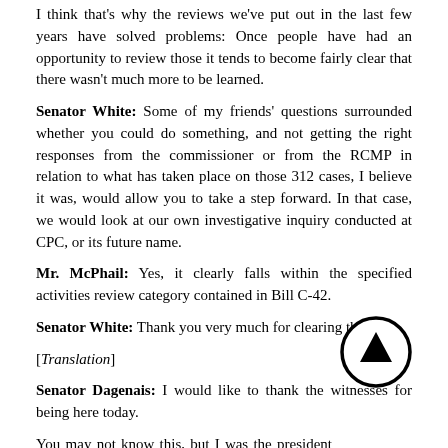I think that's why the reviews we've put out in the last few years have solved problems: Once people have had an opportunity to review those it tends to become fairly clear that there wasn't much more to be learned.
Senator White: Some of my friends' questions surrounded whether you could do something, and not getting the right responses from the commissioner or from the RCMP in relation to what has taken place on those 312 cases, I believe it was, would allow you to take a step forward. In that case, we would look at our own investigative inquiry conducted at CPC, or its future name.
Mr. McPhail: Yes, it clearly falls within the specified activities review category contained in Bill C-42.
Senator White: Thank you very much for clearing that up.
[Translation]
Senator Dagenais: I would like to thank the witnesses for being here today.
You may not know this, but I was the president of the union for the Sûreté du Québec for seven years, and in cooperation with the employer, we established a harassment policy. Through that policy, we were able to prevent problems and resolve a number of cases. The union did more than just deal with labour agreements